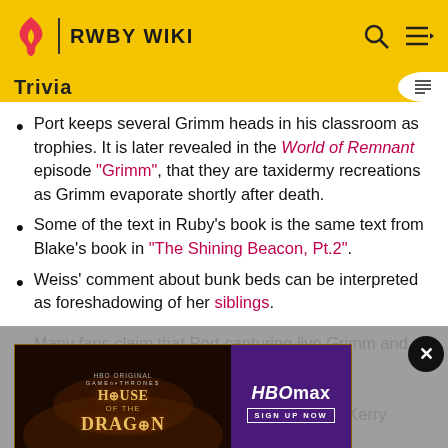RWBY WIKI
Port keeps several Grimm heads in his classroom as trophies. It is later revealed in the World of Remnant episode "Grimm", that they are taxidermy recreations as Grimm evaporate shortly after death.
Some of the text in Ruby's book is the same text from Blake's book in "The Shining Beacon, Pt.2".
Weiss' comment about bunk beds can be interpreted as foreshadowing of her siblings.
Many fans claim that Port capturing live Grimm and keeping them... Miles Luna and Kerry Shawcross have said, this
[Figure (screenshot): HBO Max advertisement for House of the Dragon with close button]